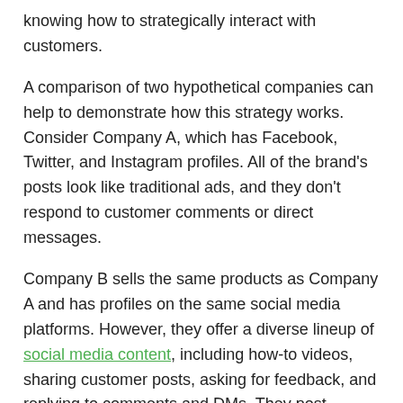knowing how to strategically interact with customers.
A comparison of two hypothetical companies can help to demonstrate how this strategy works. Consider Company A, which has Facebook, Twitter, and Instagram profiles. All of the brand's posts look like traditional ads, and they don't respond to customer comments or direct messages.
Company B sells the same products as Company A and has profiles on the same social media platforms. However, they offer a diverse lineup of social media content, including how-to videos, sharing customer posts, asking for feedback, and replying to comments and DMs. They post entertaining, informative, and helpful content rather than just spamming their followers with ads.
When it comes time to make a purchase, a customer looks at the social media profiles for both Company A